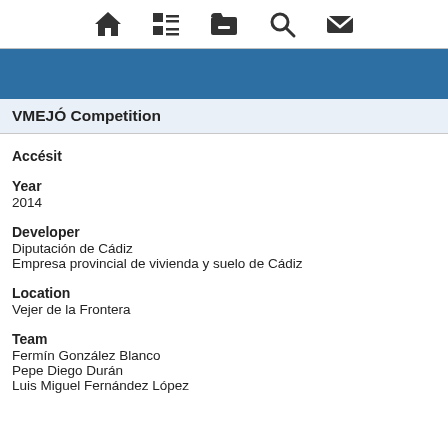[Figure (other): Navigation bar with icons: house, list/menu, folder, search magnifier, mail envelope]
VMEJÓ Competition
Accésit
Year
2014
Developer
Diputación de Cádiz
Empresa provincial de vivienda y suelo de Cádiz
Location
Vejer de la Frontera
Team
Fermín González Blanco
Pepe Diego Durán
Luis Miguel Fernández López